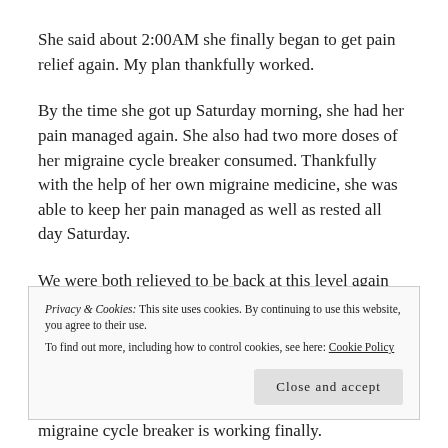She said about 2:00AM she finally began to get pain relief again. My plan thankfully worked.
By the time she got up Saturday morning, she had her pain managed again. She also had two more doses of her migraine cycle breaker consumed. Thankfully with the help of her own migraine medicine, she was able to keep her pain managed as well as rested all day Saturday.
We were both relieved to be back at this level again and relieved to know we did not have to take her to the
Privacy & Cookies: This site uses cookies. By continuing to use this website, you agree to their use.
To find out more, including how to control cookies, see here: Cookie Policy
migraine cycle breaker is working finally.